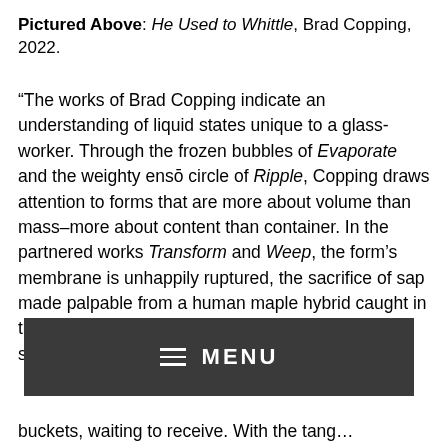Pictured Above: He Used to Whittle, Brad Copping, 2022.
“The works of Brad Copping indicate an understanding of liquid states unique to a glassworker. Through the frozen bubbles of Evaporate and the weighty ensō circle of Ripple, Copping draws attention to forms that are more about volume than mass–more about content than container. In the partnered works Transform and Weep, the form’s membrane is unhappily ruptured, the sacrifice of sap made palpable from a human maple hybrid caught in the midst of its tra... sh... buckets, waiting to receive. With the tang...
[Figure (screenshot): Dark grey menu bar overlay with hamburger icon and MENU text in white]